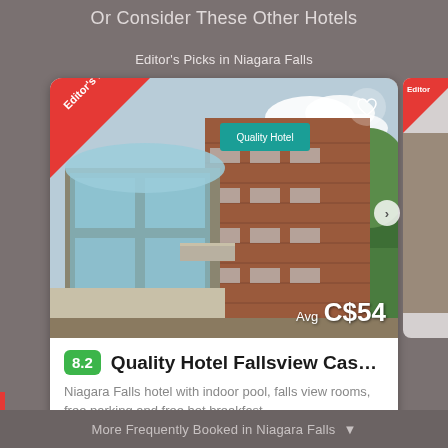Or Consider These Other Hotels
Editor's Picks in Niagara Falls
[Figure (photo): Photo of Quality Hotel Fallsview Cascade hotel building - a multi-story brick building with balconies and a modern glass-fronted lower section, with an Editor's Pick ribbon badge in the top-left corner, a heart icon in the top-right, and price 'Avg C$54' in the bottom-right]
8.2  Quality Hotel Fallsview Casc...
Niagara Falls hotel with indoor pool, falls view rooms, free parking and free hot breakfast
More Frequently Booked in Niagara Falls